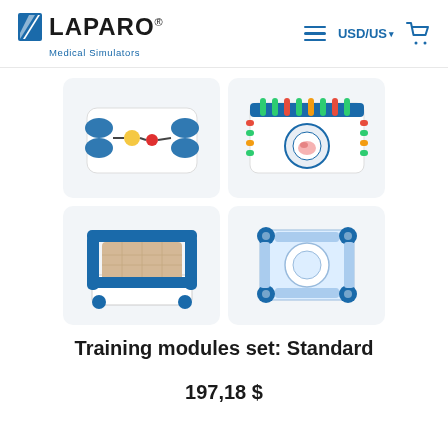LAPARO® Medical Simulators | USD/US
[Figure (photo): Four training module components shown in a 2x2 grid: top-left shows a flat module with blue handles and colored clips, top-right shows a flat board with small pegs and a circular target with tissue model, bottom-left shows a 3D box-shaped module with blue frame and suturing pad, bottom-right shows a flat platform with blue corner mounts and circular center.]
Training modules set: Standard
197,18 $